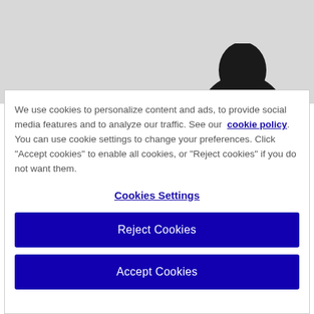[Figure (photo): Partial photo visible behind cookie consent overlay — light gray background with dark silhouette of top of a person's head in lower right portion]
We use cookies to personalize content and ads, to provide social media features and to analyze our traffic. See our cookie policy. You can use cookie settings to change your preferences. Click "Accept cookies" to enable all cookies, or "Reject cookies" if you do not want them.
Cookies Settings
Reject Cookies
Accept Cookies